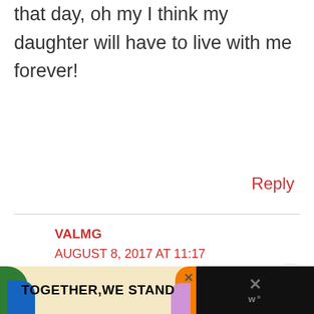that day, oh my I think my daughter will have to live with me forever!
Reply
VALMG
AUGUST 8, 2017 AT 11:17 PM
You have some good
[Figure (screenshot): Advertisement banner at the bottom: colorful 'TOGETHER, WE STAND' ad with close button and dark right panel with X icon]